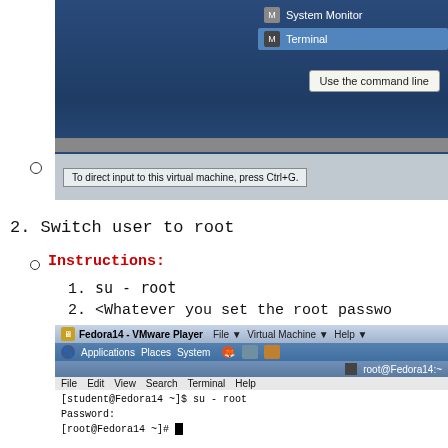[Figure (screenshot): VMware virtual machine screenshot showing a right-click context menu with 'System Monitor' and highlighted 'Terminal' items, a tooltip saying 'Use the command line', and a bottom bar reading 'To direct input to this virtual machine, press Ctrl+G.']
(bullet) — corresponds to first screenshot
2. Switch user to root
Instructions:
1. su - root
2. <Whatever you set the root password>
[Figure (screenshot): Fedora14 - VMware Player window showing terminal with commands: [student@Fedora14 ~]$ su - root, Password:, [root@Fedora14 ~]#]